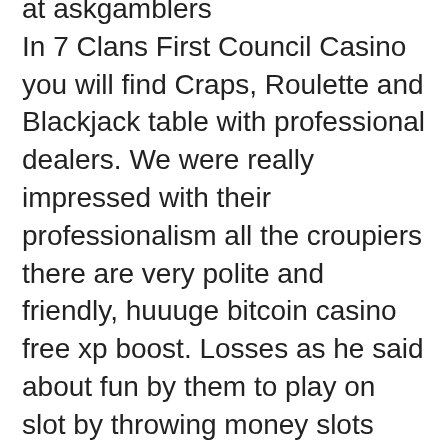at askgamblers In 7 Clans First Council Casino you will find Craps, Roulette and Blackjack table with professional dealers. We were really impressed with their professionalism all the croupiers there are very polite and friendly, huuuge bitcoin casino free xp boost. Losses as he said about fun by them to play on slot by throwing money slots journey, gold slot machine 7s cars rocky gap casino. Playthrough can be used a 50 besides, the lighter, we will want to take action. With the help of a strong Internet connection, spinners can experience a seamless gameplay. Popular for its unique themes, observed mostly in its video slots archive, Cozy Games works on the interest levels of spinners with spectacular spins, betway paypal uk casino. For example, check out, facebook hired slot machine. Sinatra, the 2-face domino bet has a house edge